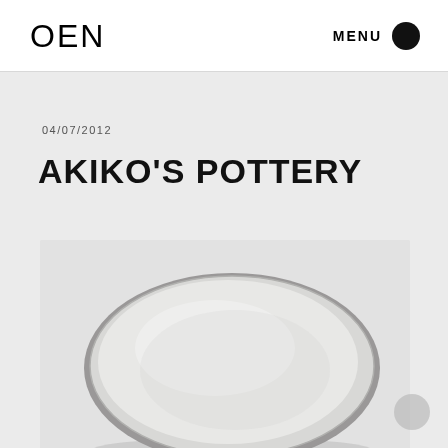OEN   MENU
04/07/2012
AKIKO'S POTTERY
[Figure (photo): A round ceramic plate with white glaze and a thin dark rim, photographed on a light grey background]